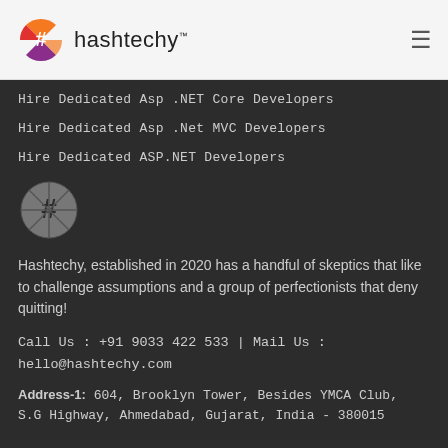hashtechy™
Hire Dedicated Asp .NET Core Developers
Hire Dedicated Asp .Net MVC Developers
Hire Dedicated ASP.NET Developers
[Figure (logo): Hashtechy logo — circular monochrome icon with hash symbol]
Hashtechy, established in 2020 has a handful of skeptics that like to challenge assumptions and a group of perfectionists that deny quitting!
Call Us : +91 9033 422 533 | Mail Us : hello@hashtechy.com
Address-1: 604, Brooklyn Tower, Besides YMCA Club, S.G Highway, Ahmedabad, Gujarat, India - 380015